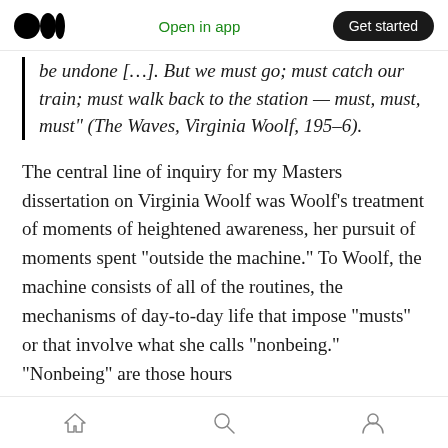Open in app  Get started
be undone [...]. But we must go; must catch our train; must walk back to the station — must, must, must" (The Waves, Virginia Woolf, 195–6).
The central line of inquiry for my Masters dissertation on Virginia Woolf was Woolf's treatment of moments of heightened awareness, her pursuit of moments spent "outside the machine." To Woolf, the machine consists of all of the routines, the mechanisms of day-to-day life that impose "musts" or that involve what she calls "nonbeing." "Nonbeing" are those hours
home  search  profile